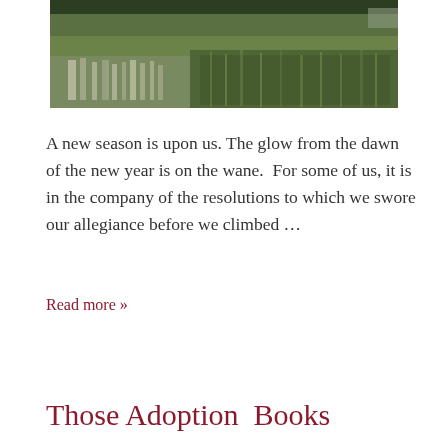[Figure (photo): Aerial or ground-level photograph of a green rice paddy field with water reflections and dense grassy vegetation.]
A new season is upon us. The glow from the dawn of the new year is on the wane.  For some of us, it is in the company of the resolutions to which we swore our allegiance before we climbed …
Read more »
Those Adoption  Books